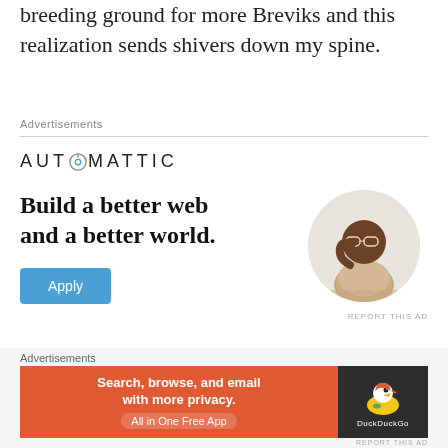breeding ground for more Breviks and this realization sends shivers down my spine.
[Figure (infographic): Automattic advertisement: logo with compass-style O, headline 'Build a better web and a better world.', Apply button, circular photo of man thinking at desk, report this ad link]
Share this:
[Figure (infographic): DuckDuckGo advertisement banner: orange left section with 'Search, browse, and email with more privacy. All in One Free App', dark right section with DuckDuckGo duck logo]
REPORT THIS AD